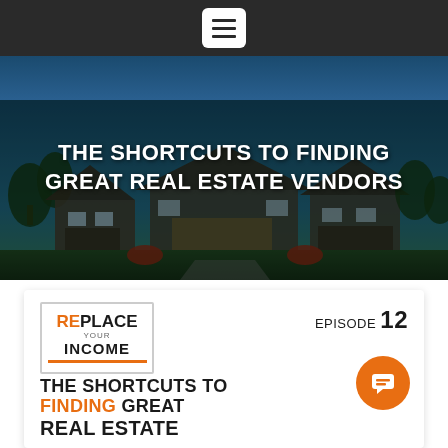[Figure (screenshot): Dark navigation header bar with white hamburger menu icon (three horizontal lines)]
[Figure (photo): Hero image of suburban houses with dark overlay, with title text 'THE SHORTCUTS TO FINDING GREAT REAL ESTATE VENDORS' overlaid in white]
THE SHORTCUTS TO FINDING GREAT REAL ESTATE VENDORS
[Figure (illustration): Podcast episode thumbnail card for 'Replace Your Income' podcast, Episode 12, showing text 'THE SHORTCUTS TO FINDING GREAT REAL ESTATE VENDORS' with orange and dark styling, logo top-left, episode number top-right, orange chat bubble circle]